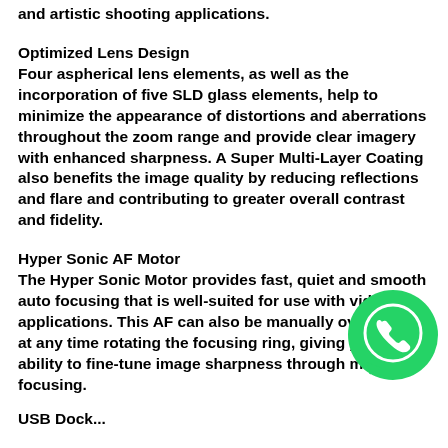and artistic shooting applications.
Optimized Lens Design
Four aspherical lens elements, as well as the incorporation of five SLD glass elements, help to minimize the appearance of distortions and aberrations throughout the zoom range and provide clear imagery with enhanced sharpness. A Super Multi-Layer Coating also benefits the image quality by reducing reflections and flare and contributing to greater overall contrast and fidelity.
Hyper Sonic AF Motor
The Hyper Sonic Motor provides fast, quiet and smooth auto focusing that is well-suited for use with video applications. This AF can also be manually overridden at any time rotating the focusing ring, giving you the ability to fine-tune image sharpness through manual focusing.
[Figure (logo): WhatsApp green circular logo icon]
USB Dock...